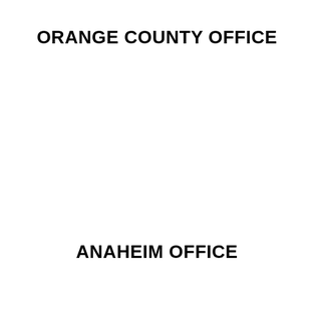ORANGE COUNTY OFFICE
ANAHEIM OFFICE